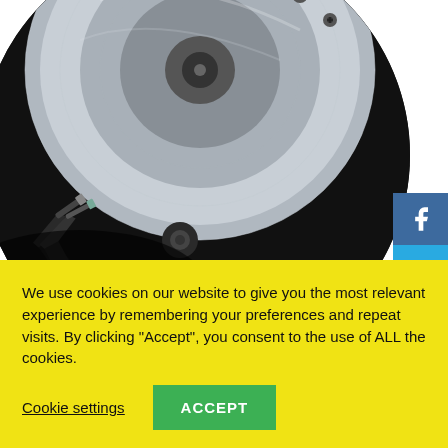[Figure (photo): Close-up circular-cropped photo of an open hard disk drive (HDD) showing the magnetic platters, read/write arm, and internal components against a dark background.]
We use cookies on our website to give you the most relevant experience by remembering your preferences and repeat visits. By clicking “Accept”, you consent to the use of ALL the cookies.
Cookie settings
ACCEPT